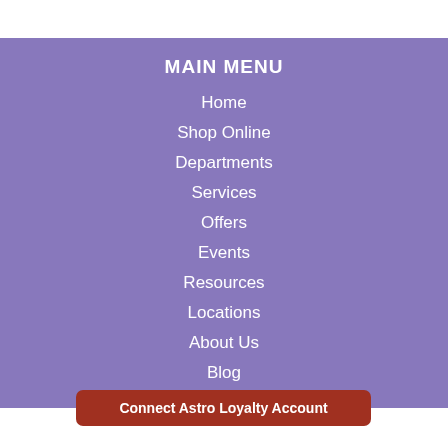MAIN MENU
Home
Shop Online
Departments
Services
Offers
Events
Resources
Locations
About Us
Blog
Connect Astro Loyalty Account